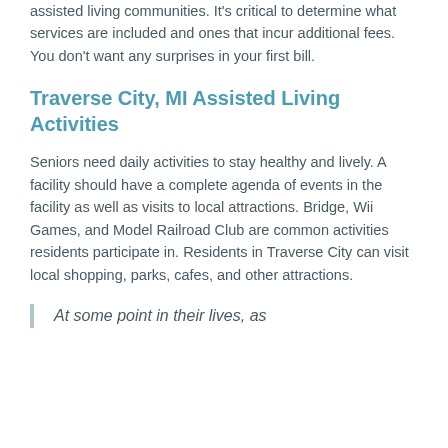assisted living communities. It's critical to determine what services are included and ones that incur additional fees. You don't want any surprises in your first bill.
Traverse City, MI Assisted Living Activities
Seniors need daily activities to stay healthy and lively. A facility should have a complete agenda of events in the facility as well as visits to local attractions. Bridge, Wii Games, and Model Railroad Club are common activities residents participate in. Residents in Traverse City can visit local shopping, parks, cafes, and other attractions.
At some point in their lives, as